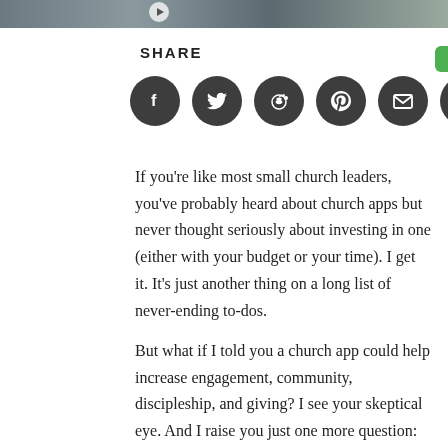[Figure (photo): Photo strip at top of page, partially visible image with a play button overlay]
SHARE
[Figure (infographic): Row of six dark circular social media share buttons: Facebook, Twitter, Reddit, Pinterest, Email, LinkedIn]
If you’re like most small church leaders, you’ve probably heard about church apps but never thought seriously about investing in one (either with your budget or your time). I get it. It’s just another thing on a long list of never-ending to-dos.
But what if I told you a church app could help increase engagement, community, discipleship, and giving? I see your skeptical eye. And I raise you just one more question: What if I also told